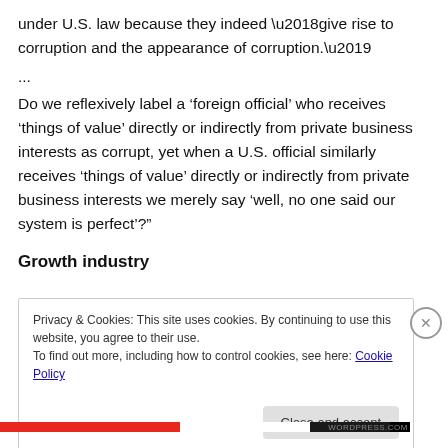under U.S. law because they indeed ‘give rise to corruption and the appearance of corruption.’
...
Do we reflexively label a ‘foreign official’ who receives ‘things of value’ directly or indirectly from private business interests as corrupt, yet when a U.S. official similarly receives ‘things of value’ directly or indirectly from private business interests we merely say ‘well, no one said our system is perfect’?”
Growth industry
Privacy & Cookies: This site uses cookies. By continuing to use this website, you agree to their use.
To find out more, including how to control cookies, see here: Cookie Policy
Close and accept